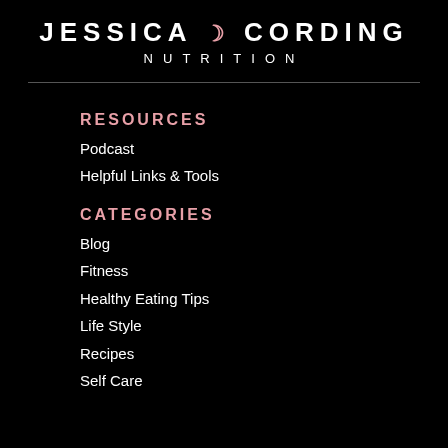JESSICA 🌙 CORDING NUTRITION
RESOURCES
Podcast
Helpful Links & Tools
CATEGORIES
Blog
Fitness
Healthy Eating Tips
Life Style
Recipes
Self Care